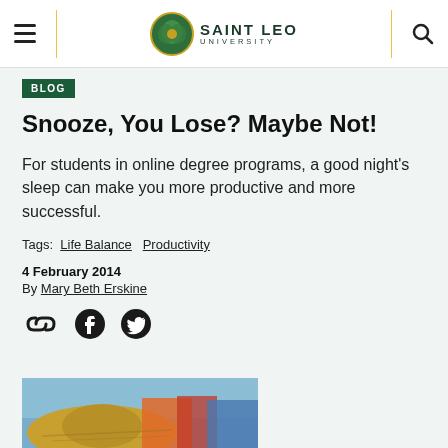Saint Leo University — Navigation header with hamburger menu and search icon
BLOG
Snooze, You Lose? Maybe Not!
For students in online degree programs, a good night's sleep can make you more productive and more successful.
Tags: Life Balance  Productivity
4 February 2014
By Mary Beth Erskine
[Figure (illustration): Social sharing icons: link, Facebook, Twitter]
[Figure (photo): Partial photo at bottom showing colorful hats and outdoor scene]